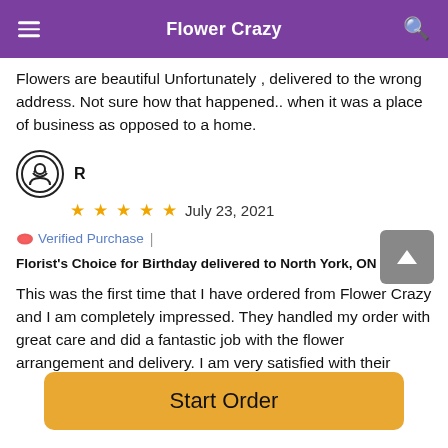Flower Crazy
Flowers are beautiful Unfortunately , delivered to the wrong address. Not sure how that happened.. when it was a place of business as opposed to a home.
R
★★★★★  July 23, 2021
Verified Purchase  |  Florist's Choice for Birthday delivered to North York, ON
This was the first time that I have ordered from Flower Crazy and I am completely impressed. They handled my order with great care and did a fantastic job with the flower arrangement and delivery. I am very satisfied with their
Start Order